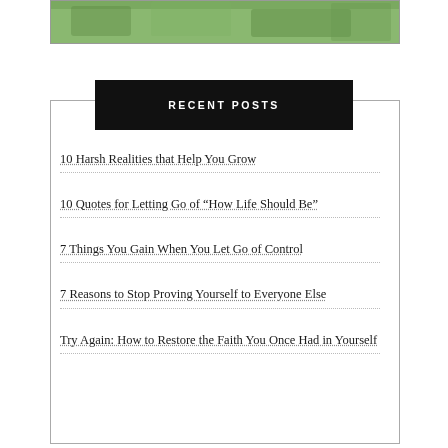[Figure (photo): Partial image of a green outdoor/nature scene, cropped at top]
RECENT POSTS
10 Harsh Realities that Help You Grow
10 Quotes for Letting Go of “How Life Should Be”
7 Things You Gain When You Let Go of Control
7 Reasons to Stop Proving Yourself to Everyone Else
Try Again: How to Restore the Faith You Once Had in Yourself